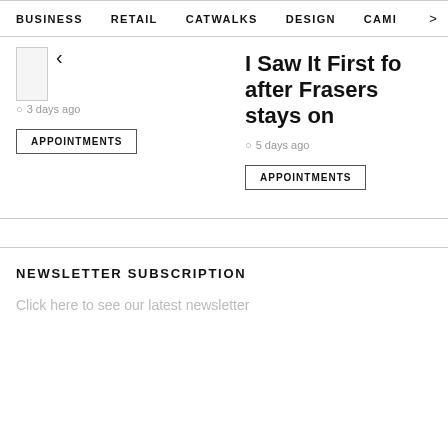BUSINESS   RETAIL   CATWALKS   DESIGN   CAMI  >
3 days ago
APPOINTMENTS
I Saw It First fo after Frasers stays on
5 days ago
APPOINTMENTS
NEWSLETTER SUBSCRIPTION
Click here to see our latest newsletter